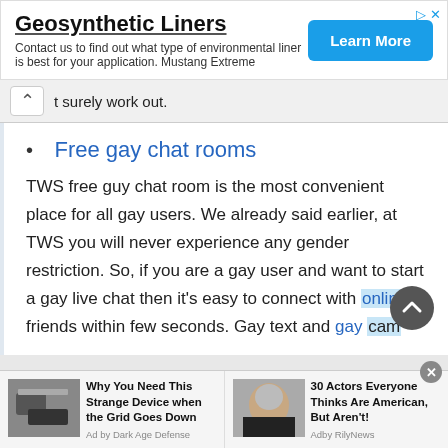[Figure (other): Advertisement banner for Geosynthetic Liners with 'Learn More' button]
t surely work out.
Free gay chat rooms
TWS free guy chat room is the most convenient place for all gay users. We already said earlier, at TWS you will never experience any gender restriction. So, if you are a gay user and want to start a gay live chat then it's easy to connect with online friends within few seconds. Gay text and gay cam
[Figure (other): Two advertisement cards at bottom: 'Why You Need This Strange Device when the Grid Goes Down' by Dark Age Defense, and '30 Actors Everyone Thinks Are American, But Aren't!' by RilyNews]